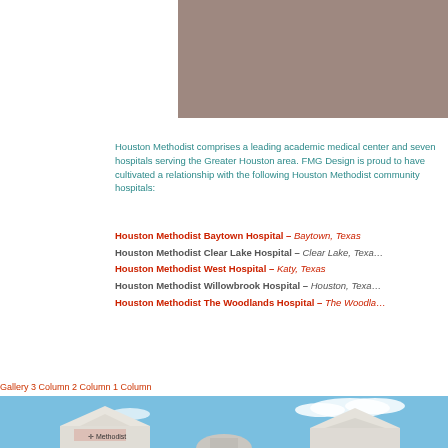[Figure (photo): Top portion of a building photo with brownish/taupe colored exterior wall, cropped to upper right of page]
Houston Methodist comprises a leading academic medical center and seven hospitals serving the Greater Houston area. FMG Design is proud to have cultivated a relationship with the following Houston Methodist community hospitals:
Houston Methodist Baytown Hospital – Baytown, Texas
Houston Methodist Clear Lake Hospital – Clear Lake, Texas
Houston Methodist West Hospital – Katy, Texas
Houston Methodist Willowbrook Hospital – Houston, Texas
Houston Methodist The Woodlands Hospital – The Woodlands, Texas
Gallery 3 Column 2 Column 1 Column
[Figure (photo): Bottom portion showing exterior of Houston Methodist hospital building(s) with white peaked rooflines against a blue sky with clouds]